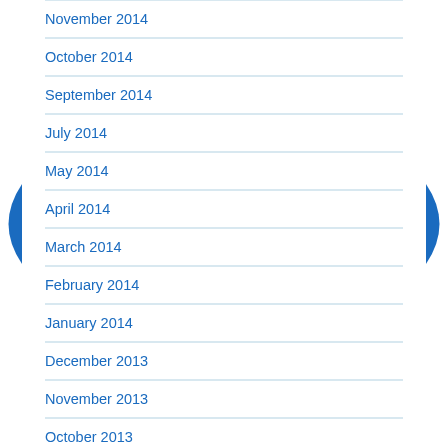November 2014
October 2014
September 2014
July 2014
May 2014
April 2014
March 2014
February 2014
January 2014
December 2013
November 2013
October 2013